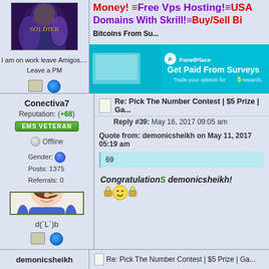[Figure (screenshot): Forum user avatar - dark fantasy character]
I am on work leave Amigos.... Leave a PM
[Figure (screenshot): Ad banner: Money! Free Vps Hosting! USA Domains With Skrill! Buy/Sell Bi... Bitcoins From Su...]
[Figure (screenshot): PanelPlace ad banner: Get Paid From Surveys - Trade your opinion for rewards]
Conectiva7
Reputation: (+68)
EMS VETERAN
Offline
Gender: [male icon] Posts: 1375 Referrals: 0
[Figure (illustration): Forum avatar of cartoon boy with finger to lips]
d(´L´)b
Re: Pick The Number Contest | $5 Prize | Ga...
Reply #39: May 16, 2017 09:05 am
Quote from: demonicsheikh on May 11, 2017 05:19 am
69
CongratulationS demonicsheikh!
demonicsheikh
Re: Pick The Number Contest | $5 Prize | Ga...